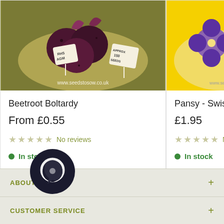[Figure (photo): Product image: Beetroot Boltardy seeds packet on olive/khaki background with RHS AGM badge and 'Approx 150 seeds' label, www.seedstosow.co.uk]
Beetroot Boltardy
From £0.55
No reviews
In stock
[Figure (photo): Product image: Pansy Swiss Giant Mix seeds packet on bright yellow background with pansies flowers, www.seedstosow.co.uk]
Pansy - Swiss Giant Mi
£1.95
No revi
In stock
ABOUT US
[Figure (illustration): Dark circular chat/messenger icon]
CUSTOMER SERVICE